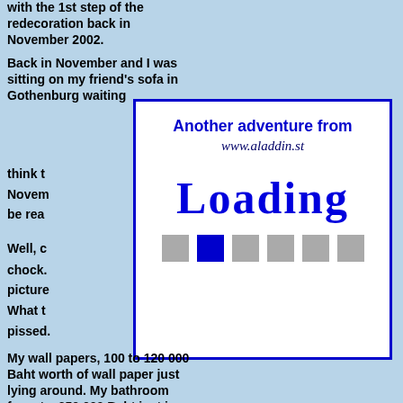with the 1st step of the redecoration back in November 2002.
Back in November and I was sitting on my friend's sofa in Gothenburg waiting to fly down and then didn't think t... Novem... be rea...
[Figure (screenshot): Loading screen overlay with blue border on white background. Text reads 'Another adventure from www.aladdin.st' and 'LOADING' in large blue letters, with progress bar squares below (one blue, rest grey).]
Well, c... chock. picture... What t... pissed.
My wall papers, 100 to 120 000 Baht worth of wall paper just lying around. My bathroom faucets, 250 000 Baht just in an f@cking box and only God knows how much of the stuff that was missing